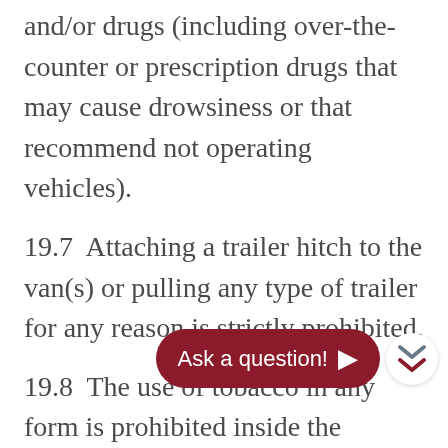and/or drugs (including over-the-counter or prescription drugs that may cause drowsiness or that recommend not operating vehicles).
19.7  Attaching a trailer hitch to the van(s) or pulling any type of trailer for any reason is strictly prohibited.
19.8  The use of tobacco in any form is prohibited inside the vehicles.
19.9  The driver must obey all